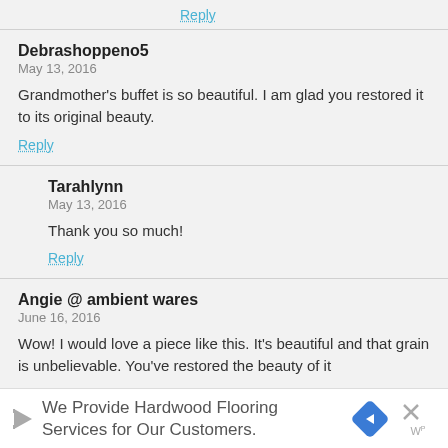Reply
Debrashoppeno5
May 13, 2016

Grandmother's buffet is so beautiful. I am glad you restored it to its original beauty.

Reply
Tarahlynn
May 13, 2016

Thank you so much!

Reply
Angie @ ambient wares
June 16, 2016

Wow! I would love a piece like this. It's beautiful and that grain is unbelievable. You've restored the beauty of it
We Provide Hardwood Flooring Services for Our Customers.